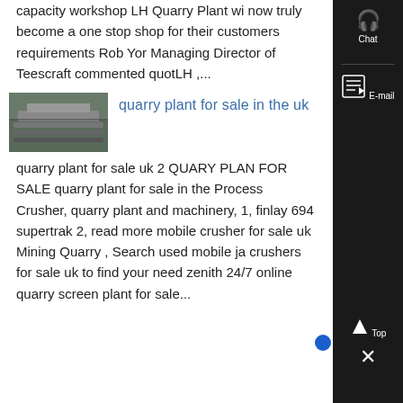capacity workshop LH Quarry Plant wi now truly become a one stop shop for their customers requirements Rob Yor Managing Director of Teescraft commented quotLH ,...
[Figure (photo): Image of quarry/industrial equipment or machinery, a conveyor or screening plant structure]
quarry plant for sale in the uk
quarry plant for sale uk 2 QUARY PLAN FOR SALE quarry plant for sale in the Process Crusher, quarry plant and machinery, 1, finlay 694 supertrak 2, read more mobile crusher for sale uk Mining Quarry , Search used mobile ja crushers for sale uk to find your need zenith 24/7 online quarry screen plant for sale...